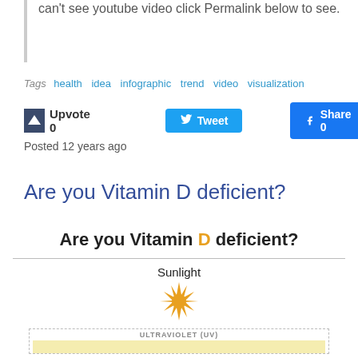can't see youtube video click Permalink below to see.
Tags  health  idea  infographic  trend  video  visualization
Upvote 0   Tweet   Share 0
Posted 12 years ago
Are you Vitamin D deficient?
[Figure (infographic): Infographic titled 'Are you Vitamin D deficient?' showing sunlight with a sun graphic and an ultraviolet (UV) dashed box with a yellow bar below it.]